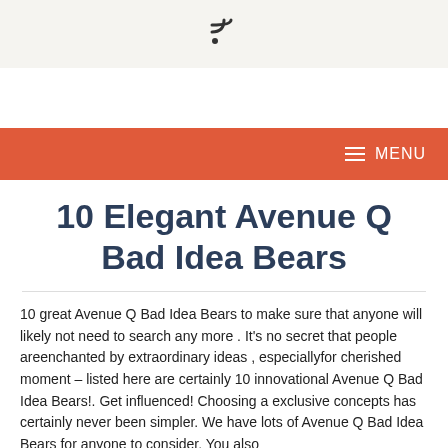RSS icon / feed symbol
MENU
10 Elegant Avenue Q Bad Idea Bears
10 great Avenue Q Bad Idea Bears to make sure that anyone will likely not need to search any more . It’s no secret that people areenchanted by extraordinary ideas , especiallyfor cherished moment – listed here are certainly 10 innovational Avenue Q Bad Idea Bears!. Get influenced! Choosing a exclusive concepts has certainly never been simpler. We have lots of Avenue Q Bad Idea Bears for anyone to consider. You also